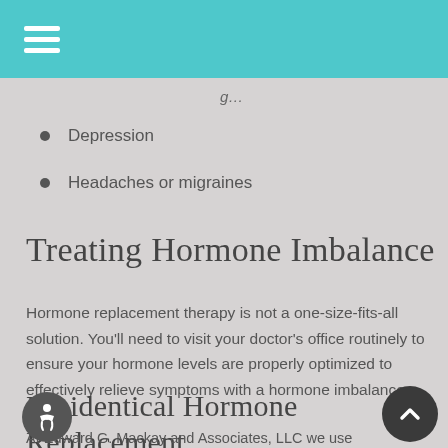Depression
Headaches or migraines
Treating Hormone Imbalance
Hormone replacement therapy is not a one-size-fits-all solution. You'll need to visit your doctor's office routinely to ensure your hormone levels are properly optimized to effectively relieve symptoms with a hormone imbalance.
Bioidentical Hormone Replacement
At Edward G. Mackay and Associates, LLC we use hormo…